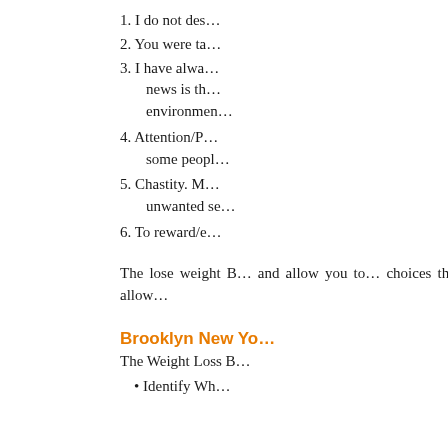1. I do not des…
2. You were ta…
3. I have alwa… news is th… environmen…
4. Attention/P… some peopl…
5. Chastity. M… unwanted se…
6. To reward/e…
The lose weight B… and allow you to… choices that allow…
Brooklyn New Yo…
The Weight Loss B…
• Identify Wh…